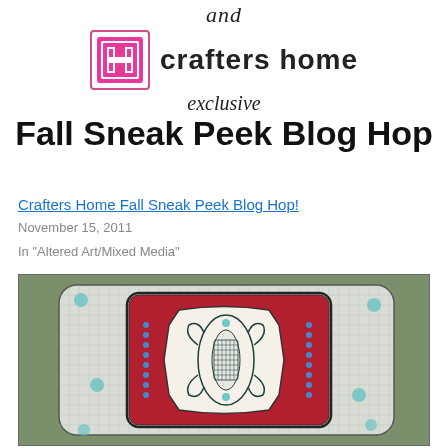[Figure (logo): Crafters Home logo with pink square containing stylized H and 'crafters home' text, with 'and' above and 'exclusive' and 'Fall Sneak Peek Blog Hop' text below]
Crafters Home Fall Sneak Peek Blog Hop!
November 15, 2011
In "Altered Art/Mixed Media"
[Figure (photo): Photograph of a handmade mixed media/altered art piece featuring decorative layered card with white ornate fleur-de-lis stamp on red and white background with teal polka dots and blue bead embellishments]